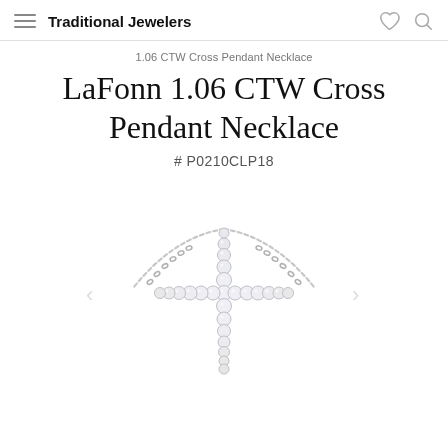Traditional Jewelers
1.06 CTW Cross Pendant Necklace
LaFonn 1.06 CTW Cross Pendant Necklace
# P0210CLP18
[Figure (photo): A diamond-set cross pendant necklace on a silver chain. The cross is adorned with round brilliant-cut cubic zirconia stones set in sterling silver. The chain extends upward in a V-shape from the top of the vertical bar of the cross.]